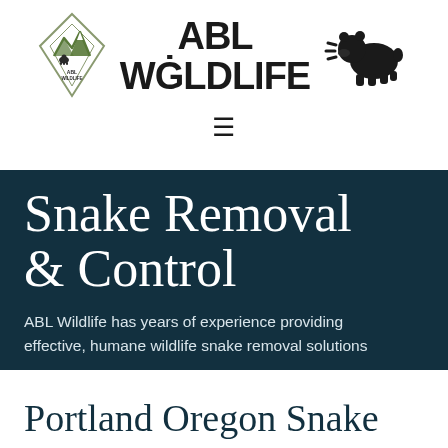[Figure (logo): ABL Wildlife logo: diamond shape with mountains and bear inside, green mountain peaks, text 'ABL WILDLIFE' inside diamond; large bold text 'ABL WILDLIFE' in center; silhouette of bear with motion lines on right]
[Figure (other): Hamburger menu icon (three horizontal lines)]
Snake Removal & Control
ABL Wildlife has years of experience providing effective, humane wildlife snake removal solutions
Portland Oregon Snake